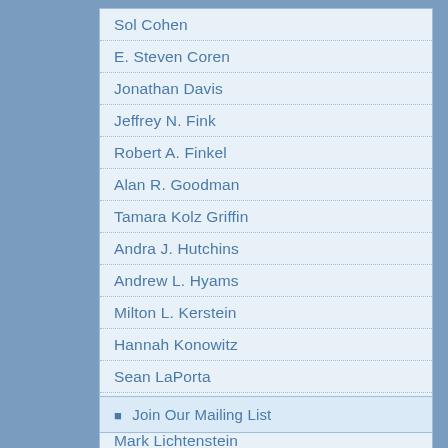Sol Cohen
E. Steven Coren
Jonathan Davis
Jeffrey N. Fink
Robert A. Finkel
Alan R. Goodman
Tamara Kolz Griffin
Andra J. Hutchins
Andrew L. Hyams
Milton L. Kerstein
Hannah Konowitz
Sean LaPorta
Maury E. Lederman
Mark Lichtenstein
Join Our Mailing List